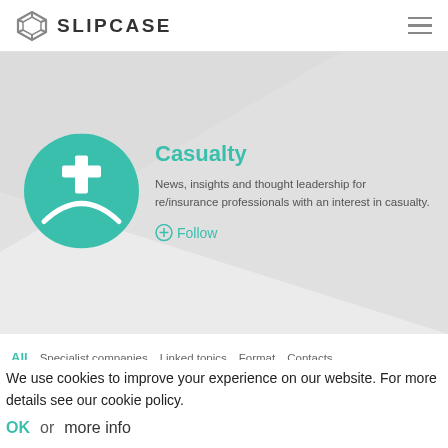SLIPCASE
[Figure (logo): Slipcase diamond/shield logo in grey, with text SLIPCASE in bold dark letters]
[Figure (illustration): Teal circular icon with a white cross and hill/arch silhouette representing Casualty insurance category]
Casualty
News, insights and thought leadership for re/insurance professionals with an interest in casualty.
+ Follow
All  Specialist companies  Linked topics  Format  Contacts
We use cookies to improve your experience on our website. For more details see our cookie policy.
OK  or  more info